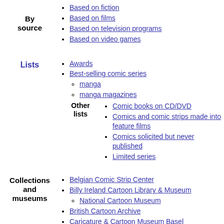By source — Based on fiction, Based on films, Based on television programs, Based on video games
Lists / Other lists — Awards, Best-selling comic series (manga, manga magazines), Comic books on CD/DVD, Comics and comic strips made into feature films, Comics solicited but never published, Limited series
Collections and museums — Belgian Comic Strip Center, Billy Ireland Cartoon Library & Museum (National Cartoon Museum), British Cartoon Archive, Caricature & Cartoon Museum Basel, Cartoon Art Museum, The Cartoon Museum, Fred Waring Cartoon Collection, Gibiteca Antonio Gobbo